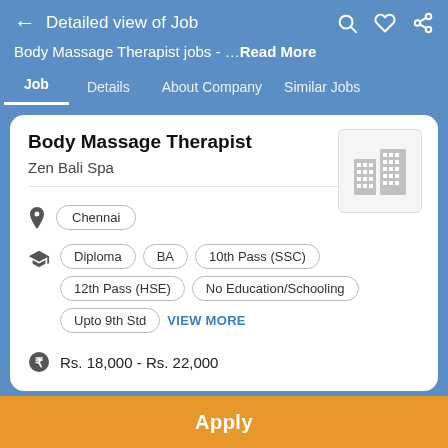← Detailed view of Job
Body Massage Therapist jobs - …Read More
Job | Details | About Company | Similar Jobs
Body Massage Therapist
Zen Bali Spa
Chennai
Diploma  BA  10th Pass (SSC)  12th Pass (HSE)  No Education/Schooling  Upto 9th Std  VIEW MORE
Rs. 18,000 - Rs. 22,000
Apply